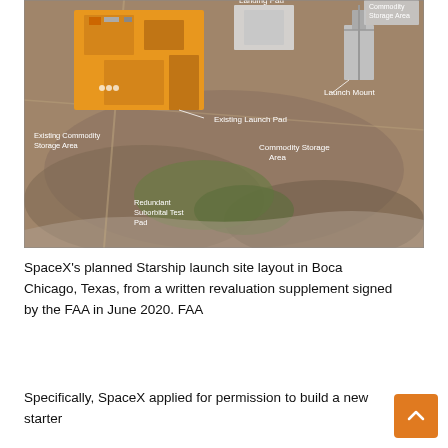[Figure (map): Aerial satellite map of SpaceX Starship launch site layout in Boca Chica, Texas, showing labeled areas: Landing Pad, Commodity Storage Area (top right), Launch Mount, Existing Launch Pad, Commodity Storage Area (center), Existing Commodity Storage Area (left), Redundant Suborbital Test Pad. Orange-highlighted building/pad structures overlaid on satellite imagery.]
SpaceX's planned Starship launch site layout in Boca Chicago, Texas, from a written revaluation supplement signed by the FAA in June 2020. FAA
Specifically, SpaceX applied for permission to build a new starter